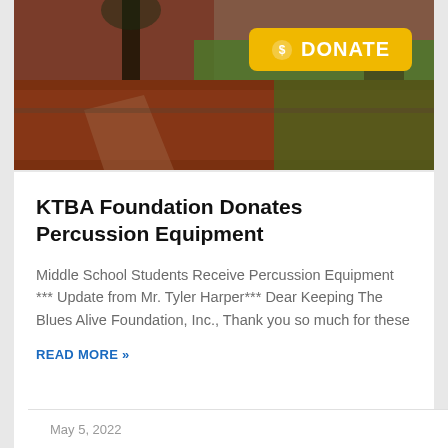[Figure (photo): Outdoor photo of a school building with red brick, pine tree, red mulch landscaping, green lawn, and a yellow DONATE button overlay in the top right corner]
KTBA Foundation Donates Percussion Equipment
Middle School Students Receive Percussion Equipment *** Update from Mr. Tyler Harper*** Dear Keeping The Blues Alive Foundation, Inc., Thank you so much for these
READ MORE »
May 5, 2022